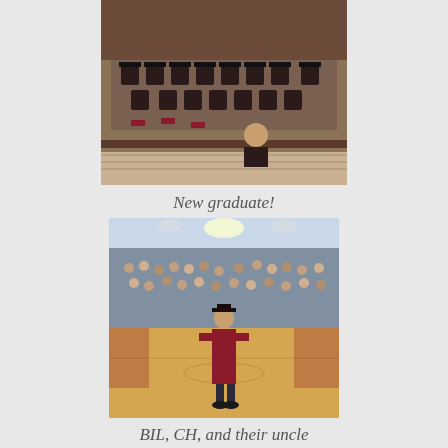[Figure (photo): Overhead view of a graduation ceremony in a gymnasium, showing graduates in dark robes and caps seated in rows, with spectators in bleachers]
New graduate!
[Figure (photo): A graduate in maroon cap and gown standing on a gymnasium floor during a graduation ceremony, with a large crowd of spectators in the background]
BIL, CH, and their uncle
[Figure (photo): Three men posing together for a photo, partially visible at the bottom of the page]